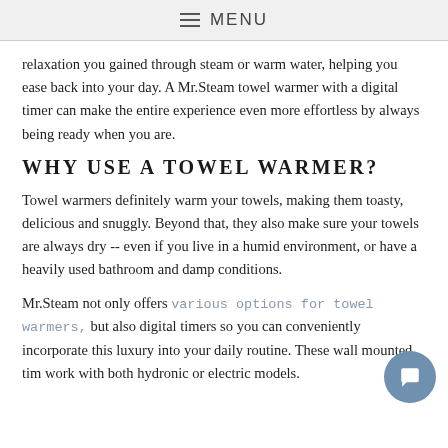≡ MENU
relaxation you gained through steam or warm water, helping you ease back into your day. A Mr.Steam towel warmer with a digital timer can make the entire experience even more effortless by always being ready when you are.
WHY USE A TOWEL WARMER?
Towel warmers definitely warm your towels, making them toasty, delicious and snuggly. Beyond that, they also make sure your towels are always dry -- even if you live in a humid environment, or have a heavily used bathroom and damp conditions.
Mr.Steam not only offers various options for towel warmers, but also digital timers so you can conveniently incorporate this luxury into your daily routine. These wall mounted tim work with both hydronic or electric models.